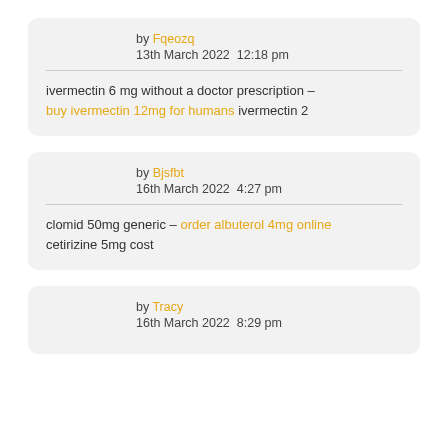by Fqeozq
13th March 2022  12:18 pm
ivermectin 6 mg without a doctor prescription – buy ivermectin 12mg for humans ivermectin 2
by Bjsfbt
16th March 2022  4:27 pm
clomid 50mg generic – order albuterol 4mg online cetirizine 5mg cost
by Tracy
16th March 2022  8:29 pm